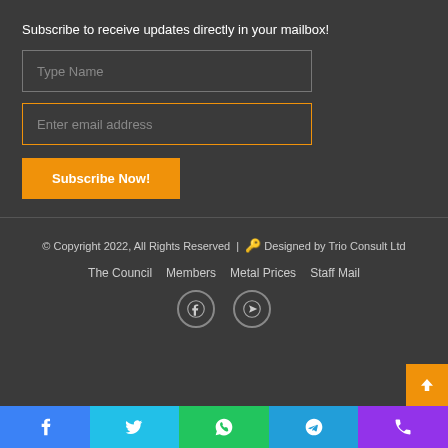Subscribe to receive updates directly in your mailbox!
Type Name
Enter email address
Subscribe Now!
© Copyright 2022, All Rights Reserved | 🔑 Designed by Trio Consult Ltd
The Council   Members   Metal Prices   Staff Mail
Facebook | YouTube social icons
Bottom bar: Facebook | Twitter | WhatsApp | Telegram | Phone